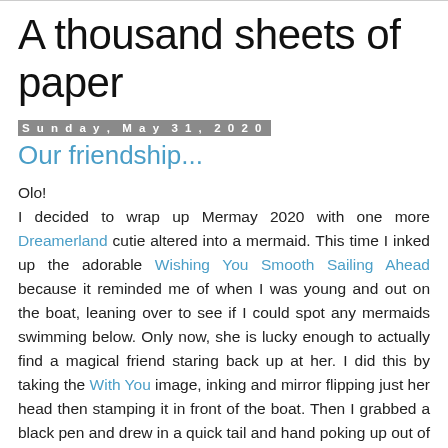A thousand sheets of paper
Sunday, May 31, 2020
Our friendship...
Olo!
I decided to wrap up Mermay 2020 with one more Dreamerland cutie altered into a mermaid. This time I inked up the adorable Wishing You Smooth Sailing Ahead because it reminded me of when I was young and out on the boat, leaning over to see if I could spot any mermaids swimming below. Only now, she is lucky enough to actually find a magical friend staring back up at her. I did this by taking the With You image, inking and mirror flipping just her head then stamping it in front of the boat. Then I grabbed a black pen and drew in a quick tail and hand poking up out of the water. For the background I was inspired by Melissa's beautiful Splash Seasong card to grab a sun ray stencil and use it as